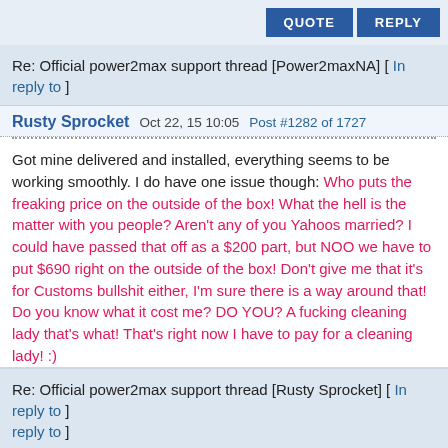QUOTE   REPLY
Re: Official power2max support thread [Power2maxNA] [ In reply to ]
Rusty Sprocket   Oct 22, 15 10:05   Post #1282 of 1727
Got mine delivered and installed, everything seems to be working smoothly. I do have one issue though: Who puts the freaking price on the outside of the box! What the hell is the matter with you people? Aren't any of you Yahoos married? I could have passed that off as a $200 part, but NOO we have to put $690 right on the outside of the box! Don't give me that it's for Customs bullshit either, I'm sure there is a way around that! Do you know what it cost me? DO YOU? A fucking cleaning lady that's what! That's right now I have to pay for a cleaning lady! :)
QUOTE   REPLY
Re: Official power2max support thread [Rusty Sprocket] [ In reply to ]